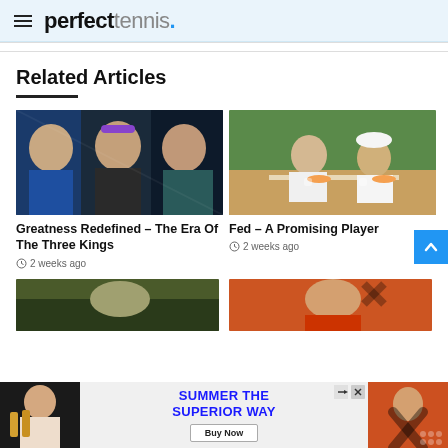perfect tennis.
Related Articles
[Figure (photo): Three tennis players (Djokovic, Nadal, Federer) composite photo]
Greatness Redefined – The Era Of The Three Kings
2 weeks ago
[Figure (photo): Roger Federer and a young player sitting at a table eating]
Fed – A Promising Player
2 weeks ago
[Figure (photo): Bottom left article thumbnail - olive/green toned image]
[Figure (photo): Bottom right article thumbnail - orange toned image with tennis player]
[Figure (photo): Advertisement banner: SUMMER THE SUPERIOR WAY with Buy Now button]